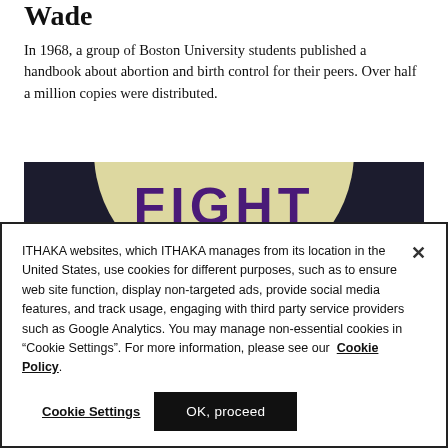Wade
In 1968, a group of Boston University students published a handbook about abortion and birth control for their peers. Over half a million copies were distributed.
[Figure (photo): A circular yellow/cream button badge on a dark background with the text 'FIGHT AIDS' in large bold purple/dark purple letters, partially cropped at the bottom.]
ITHAKA websites, which ITHAKA manages from its location in the United States, use cookies for different purposes, such as to ensure web site function, display non-targeted ads, provide social media features, and track usage, engaging with third party service providers such as Google Analytics. You may manage non-essential cookies in “Cookie Settings”. For more information, please see our Cookie Policy.
Cookie Settings
OK, proceed